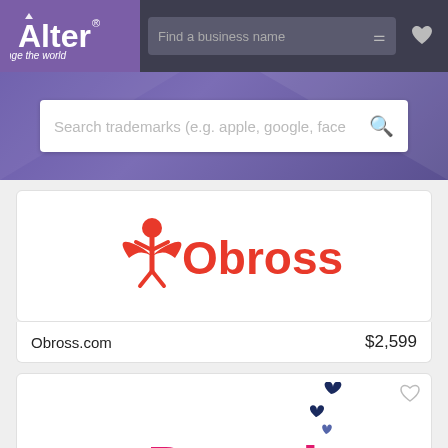[Figure (logo): Alter logo - purple background with white text 'Alter' and tagline 'change the world']
Find a business name
Search trademarks (e.g. apple, google, face
[Figure (logo): Obross logo - red figure icon with wings and text 'Obross' in red]
Obross.com
$2,599
[Figure (logo): Datezi logo - pink text partially visible with dark blue hearts above]